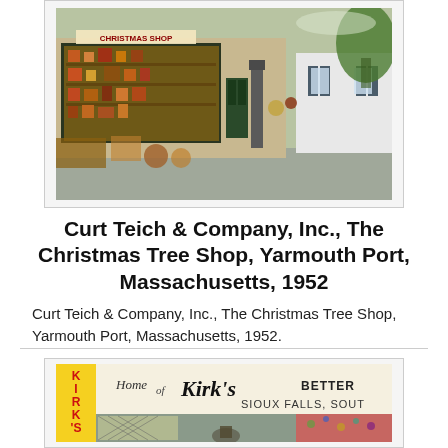[Figure (photo): Vintage color photograph of The Christmas Shop storefront in Yarmouth Port, Massachusetts, 1952. A small retail building with a sign reading 'Christmas Shop', showing merchandise displayed outside and in windows.]
Curt Teich & Company, Inc., The Christmas Tree Shop, Yarmouth Port, Massachusetts, 1952
Curt Teich & Company, Inc., The Christmas Tree Shop, Yarmouth Port, Massachusetts, 1952.
[Figure (photo): Partial vintage photograph showing the storefront of Kirk's, with text reading 'Home of Kirk's BETTER' and 'SIOUX FALLS, SOUT' visible. A yellow banner on the left reads 'KIRK'S' vertically.]